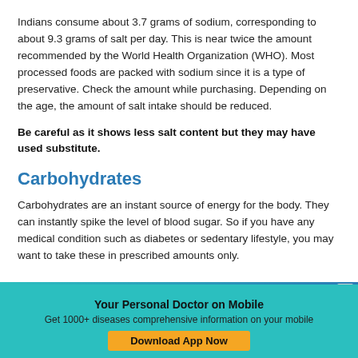Indians consume about 3.7 grams of sodium, corresponding to about 9.3 grams of salt per day. This is near twice the amount recommended by the World Health Organization (WHO). Most processed foods are packed with sodium since it is a type of preservative. Check the amount while purchasing. Depending on the age, the amount of salt intake should be reduced.
Be careful as it shows less salt content but they may have used substitute.
Carbohydrates
Carbohydrates are an instant source of energy for the body. They can instantly spike the level of blood sugar. So if you have any medical condition such as diabetes or sedentary lifestyle, you may want to take these in prescribed amounts only.
Your Personal Doctor on Mobile
Get 1000+ diseases comprehensive information on your mobile
Download App Now